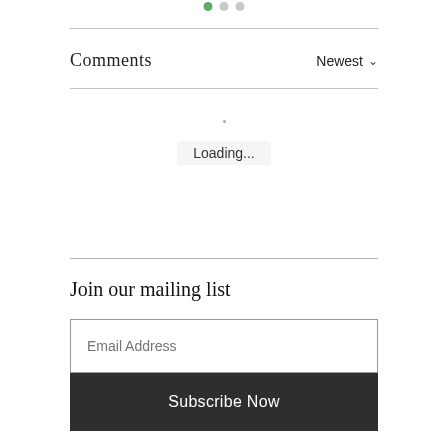[Figure (other): Three small dots (pagination or progress indicator): one green, two gray]
Comments
Newest
Loading...
Join our mailing list
Email Address
Subscribe Now